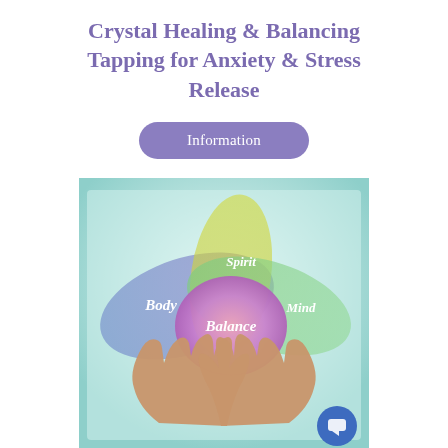Crystal Healing & Balancing Tapping for Anxiety & Stress Release
Information
[Figure (illustration): Illustration of two hands holding up a mandala/lotus-style diagram with overlapping petal shapes colored in blue, yellow-green, and green. The center shows a pink-purple circle labeled 'Balance'. The petals are labeled 'Body' (left, blue), 'Spirit' (top, yellow-green), and 'Mind' (right, green). Background is a soft teal-to-white gradient.]